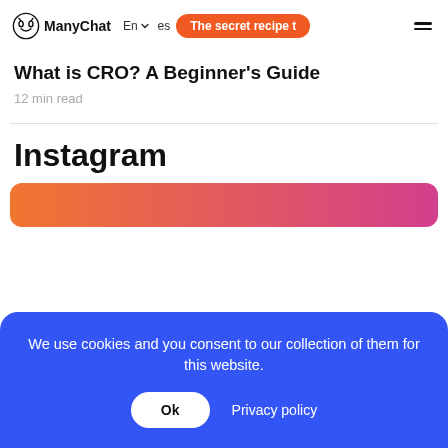ManyChat  En  The secret recipe t
What is CRO? A Beginner's Guide
12 min read
Instagram
[Figure (other): Gradient orange-to-pink card preview strip at bottom of page]
We use cookies and you consent to our collection of them for this website.
Ok   Privacy policy